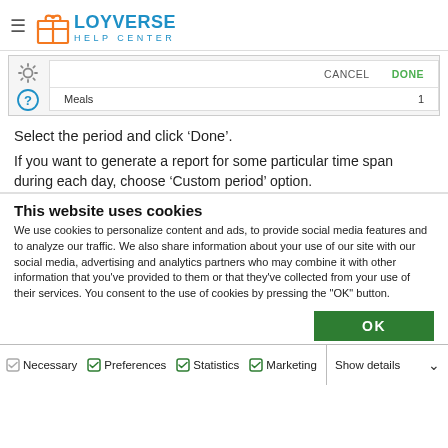≡ LOYVERSE HELP CENTER
[Figure (screenshot): UI screenshot showing CANCEL and DONE buttons with a Meals row showing value 1, and settings/help icons on the left side]
Select the period and click 'Done'.
If you want to generate a report for some particular time span during each day, choose 'Custom period' option.
This website uses cookies
We use cookies to personalize content and ads, to provide social media features and to analyze our traffic. We also share information about your use of our site with our social media, advertising and analytics partners who may combine it with other information that you've provided to them or that they've collected from your use of their services. You consent to the use of cookies by pressing the "OK" button.
OK
Necessary  Preferences  Statistics  Marketing  Show details